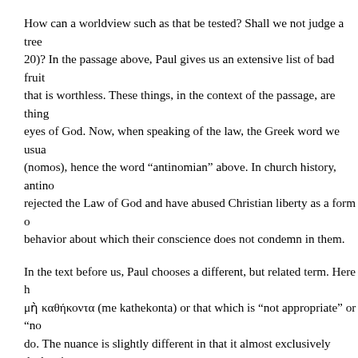How can a worldview such as that be tested? Shall we not judge a tree... 20)? In the passage above, Paul gives us an extensive list of bad fruit... that is worthless. These things, in the context of the passage, are things... eyes of God. Now, when speaking of the law, the Greek word we usually... (nomos), hence the word “antinomian” above. In church history, antino... rejected the Law of God and have abused Christian liberty as a form o... behavior about which their conscience does not condemn in them.
In the text before us, Paul chooses a different, but related term. Here h... μὴ καθήκοντα (me kathekonta) or that which is “not appropriate” or “no... do. The nuance is slightly different in that it almost exclusively deals wi... law often extends far beyond conduct to principle). Nevertheless, how... to discover whether it is appropriate or befitting of persons? It is (and m... to the law. As Paul will write later in Romans, he did not know that certa... the Law not to have instructed him (Romans 7:7). One might suggest t... “not appropriate” are more of a reflection of cultural norms and should... of God’s Law. Paul puts this notion to rest in the last verse of this pass... those who do things such as that which he has listed are worthy of dea... assigning capital punishment for its infractions. If we betray a cultural n... looked down upon as an outsider, a persona non grata, or a pariah. Ta... your feet on one’s table, failing to take your shoes off, or eating with yo...